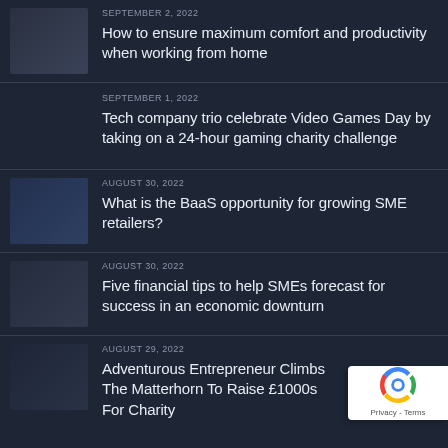[Figure (photo): Thumbnail image for article about working from home]
SEPTEMBER 2, 2022
How to ensure maximum comfort and productivity when working from home
SEPTEMBER 1, 2022
Tech company trio celebrate Video Games Day by taking on a 24-hour gaming charity challenge
[Figure (photo): Thumbnail image for BaaS article]
AUGUST 30, 2022
What is the BaaS opportunity for growing SME retailers?
[Figure (photo): Thumbnail image for financial tips article]
AUGUST 30, 2022
Five financial tips to help SMEs forecast for success in an economic downturn
[Figure (photo): Thumbnail image for entrepreneur charity article]
AUGUST 29, 2022
Adventurous Entrepreneur Climbs The Matterhorn To Raise £1000s For Charity